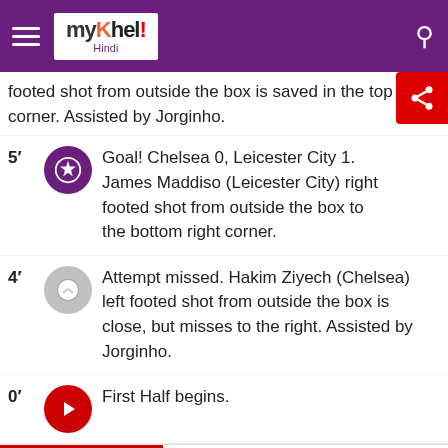myKhel Hindi
footed shot from outside the box is saved in the top right corner. Assisted by Jorginho.
5' Goal! Chelsea 0, Leicester City 1. James Maddison (Leicester City) right footed shot from outside the box to the bottom right corner.
4' Attempt missed. Hakim Ziyech (Chelsea) left footed shot from outside the box is close, but misses to the right. Assisted by Jorginho.
0' First Half begins.
e announced and players are warming
BAN vs AFG
Start Time - 7:30 PM
[Figure (other): Bloomingdales advertisement banner - View Today's Top Deals! SHOP NOW >]